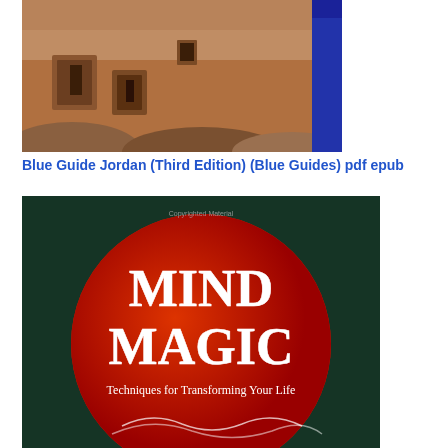[Figure (photo): Cover of Blue Guide Jordan (Third Edition) showing ancient rock-cut architecture (Petra) with blue spine showing the word GUIDE]
Blue Guide Jordan (Third Edition) (Blue Guides) pdf epub
[Figure (photo): Cover of Mind Magic: Techniques for Transforming Your Life, showing a large red circle on a dark green/teal background with white text reading MIND MAGIC and subtitle Techniques for Transforming Your Life. Contains watermark text 'Copyrighted Material'.]